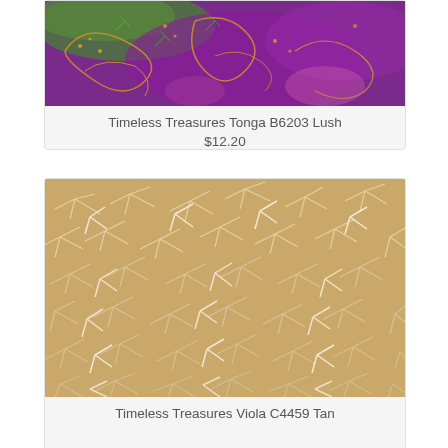[Figure (photo): Timeless Treasures Tonga B6203 Lush fabric swatch — purple, green, and gold batik paisley pattern]
Timeless Treasures Tonga B6203 Lush
$12.20
[Figure (photo): Timeless Treasures Viola C4459 Tan fabric swatch — tan/beige furry texture pattern]
Timeless Treasures Viola C4459 Tan